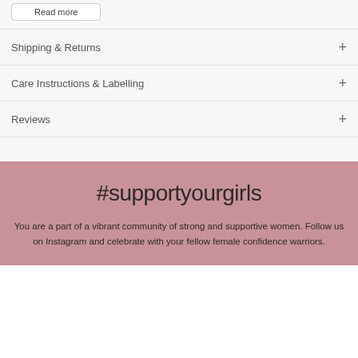Read more
Shipping & Returns
Care Instructions & Labelling
Reviews
#supportyourgirls
You are a part of a vibrant community of strong and supportive women. Follow us on Instagram and celebrate with your fellow female confidence warriors.